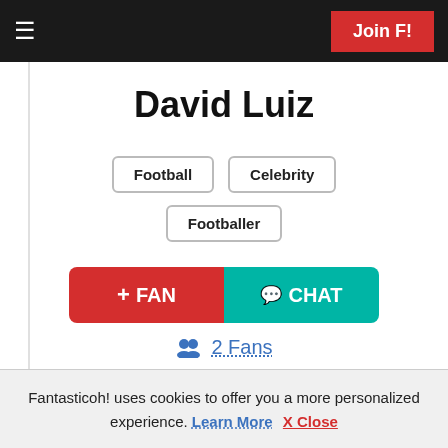Join F!
David Luiz
Football
Celebrity
Footballer
+ FAN   CHAT
2 Fans
Latest Updates
Official Photos   Official Videos
Official Tweets™
Fantasticoh! uses cookies to offer you a more personalized experience. Learn More  X Close